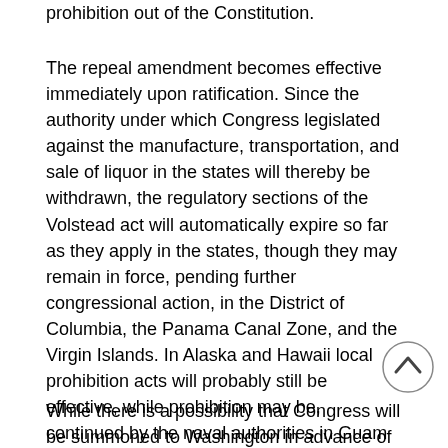prohibition out of the Constitution.
The repeal amendment becomes effective immediately upon ratification. Since the authority under which Congress legislated against the manufacture, transportation, and sale of liquor in the states will thereby be withdrawn, the regulatory sections of the Volstead act will automatically expire so far as they apply in the states, though they may remain in force, pending further congressional action, in the District of Columbia, the Panama Canal Zone, and the Virgin Islands. In Alaska and Hawaii local prohibition acts will probably still be effective, while prohibition may be, continued by the naval authorities in Guam and Samoa. Puerto Rico's prohibition law has been repealed, and that territory will be wet. The Philippine Islands have never been subject to American prohibition laws.
While there is a possibility that Congress will be summoned to Washington in advance of the regular